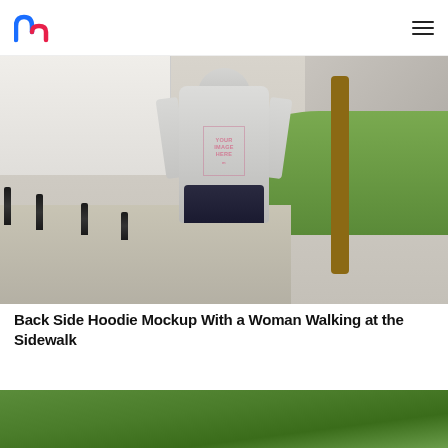Mediamodifier logo and navigation menu
[Figure (photo): Back view of a woman wearing a white/light grey hoodie with 'YOUR IMAGE HERE' mockup text on the back, walking on a sidewalk with bollards, grass, trees, and buildings in the background.]
Back Side Hoodie Mockup With a Woman Walking at the Sidewalk
[Figure (photo): Partially visible second photo showing green bokeh trees/foliage background, bottom portion only visible.]